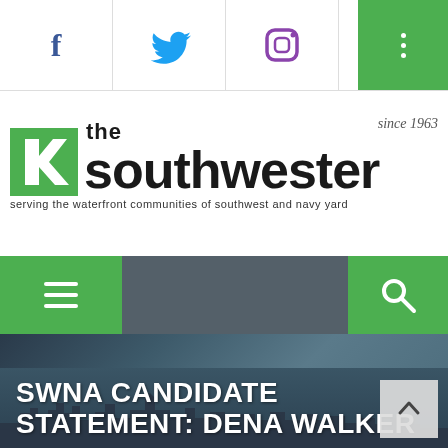[Figure (screenshot): Social media icons bar at top: Facebook (f), Twitter (bird), Instagram (camera), and green menu button with three dots on right]
[Figure (logo): The Southwester newspaper logo with green K-arrow icon, 'the southwester' text, 'since 1963' tagline, and subtitle 'serving the waterfront communities of southwest and navy yard']
[Figure (screenshot): Navigation bar with green hamburger menu button on left and green search button on right on dark gray background]
[Figure (photo): City skyline hero image with dark blue-gray tones showing 'SWNA CANDIDATE STATEMENT: DENA WALKER' text overlay in white and a back-to-top arrow button]
SWNA CANDIDATE STATEMENT: DENA WALKER